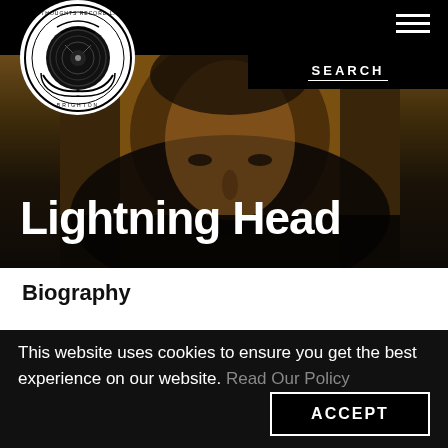Tru Thoughts Record Label Brighton — navigation header with logo and search
[Figure (logo): Circular logo of Tru Thoughts Record Label, Brighton, with vinyl record graphic in black and white]
Lightning Head
Biography
This website uses cookies to ensure you get the best experience on our website. Read Our Policy
ACCEPT